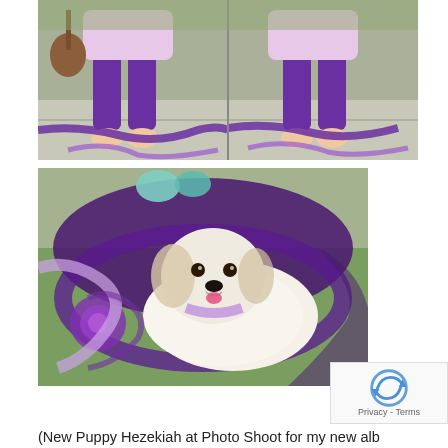[Figure (photo): Two-panel photo showing a person sitting on stone steps wearing purple leggings and a light pink/purple dress, holding a ukulele in the left panel; barefoot with purple scarves/fabric draped around in both panels. Lavender and purple accessories visible on the steps.]
[Figure (photo): Photo of a small fluffy white puppy named Hezekiah lying on grass, surrounded by purple knitted and fabric decorations including scarves and a flower accent. A teal/mint bow is visible at the top.]
(New Puppy Hezekiah at Photo Shoot for my new alb